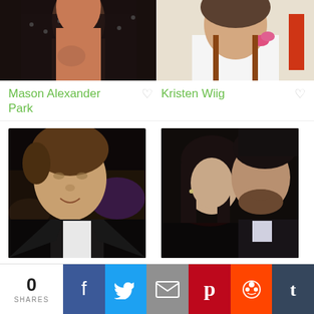[Figure (photo): Partial top photo of Mason Alexander Park - cropped showing chest/neck area in dark polka dot outfit]
[Figure (photo): Partial top photo of Kristen Wiig - cropped showing face/shoulders with pink flower accessory and white collar]
Mason Alexander Park
Kristen Wiig
[Figure (photo): Brad Pitt in black tuxedo with bow tie at an event, smiling, brown hair]
[Figure (photo): Sandra Bullock with dark hair posing with a bearded man in a suit at an event]
Brad Pitt
Sandra Bullock
0 SHARES  [Facebook] [Twitter] [Email] [Pinterest] [Reddit] [Tumblr]